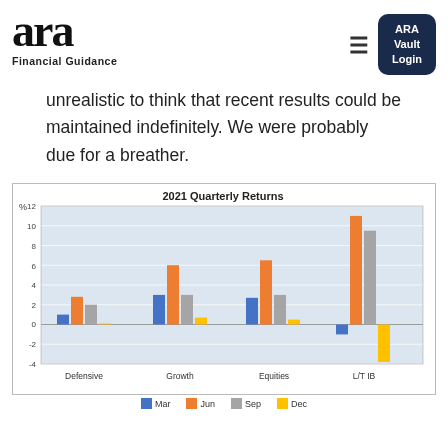ARA Financial Guidance — ARA Vault Login
unrealistic to think that recent results could be maintained indefinitely. We were probably due for a breather.
[Figure (grouped-bar-chart): 2021 Quarterly Returns]
Mar  Jun  Sep  Dec